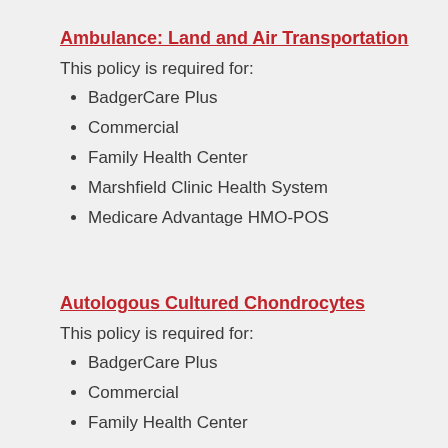Ambulance: Land and Air Transportation
This policy is required for:
BadgerCare Plus
Commercial
Family Health Center
Marshfield Clinic Health System
Medicare Advantage HMO-POS
Autologous Cultured Chondrocytes
This policy is required for:
BadgerCare Plus
Commercial
Family Health Center